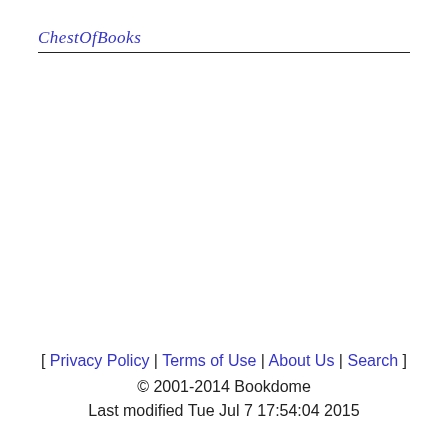ChestOfBooks
[ Privacy Policy | Terms of Use | About Us | Search ] © 2001-2014 Bookdome Last modified Tue Jul 7 17:54:04 2015